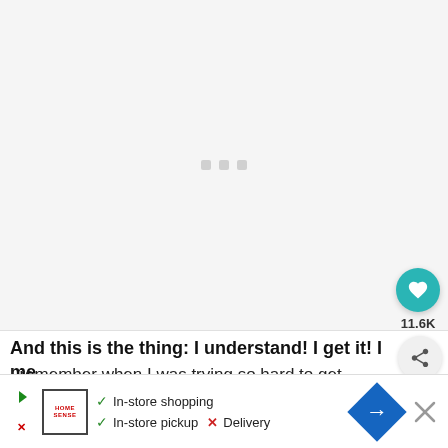[Figure (other): Large image area with loading indicator — three small grey dots centered in a light grey rectangle]
[Figure (other): Teal circular heart/like button with white heart icon, showing count 11.6K, and a grey share button below]
And this is the thing: I understand! I get it! I me…
I remember when I was trying so hard to get the…
[Figure (other): Advertisement banner: Home Sense logo with play and X icons, checkmarks for In-store shopping and In-store pickup, X for Delivery, blue navigation sign icon, and close X button]